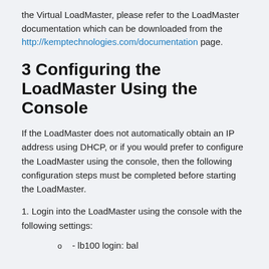the Virtual LoadMaster, please refer to the LoadMaster documentation which can be downloaded from the http://kemptechnologies.com/documentation page.
3 Configuring the LoadMaster Using the Console
If the LoadMaster does not automatically obtain an IP address using DHCP, or if you would prefer to configure the LoadMaster using the console, then the following configuration steps must be completed before starting the LoadMaster.
1. Login into the LoadMaster using the console with the following settings:
o  - lb100 login: bal